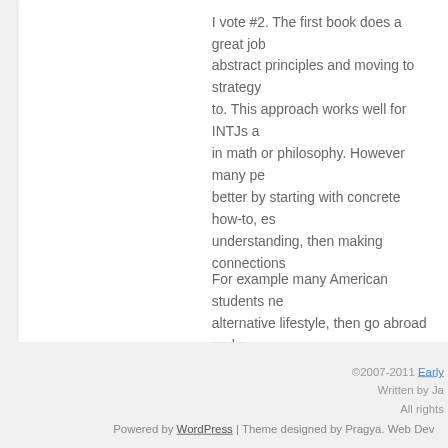I vote #2. The first book does a great job of starting with abstract principles and moving to strategy, which INTJs tend to. This approach works well for INTJs and people trained in math or philosophy. However many people learn much better by starting with concrete how-to, experiencing, then understanding, then making connections.
For example many American students never consider an alternative lifestyle, then go abroad and see how people live and a light bulb goes off and they make the connection they could do some of those things themselves. Many spiritual traditions start with very concrete things like diet and ritual and save the underlying philosophy and meaning for advanced students.
©2007-2011 Early ... Written by Ja... All rights...
Powered by WordPress | Theme designed by Pragya. Web Dev...